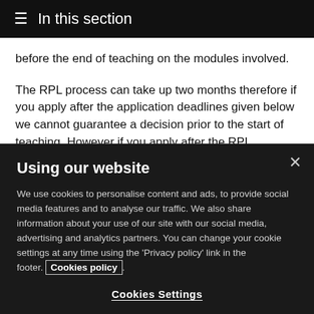≡ In this section
before the end of teaching on the modules involved.
The RPL process can take up two months therefore if you apply after the application deadlines given below we cannot guarantee a decision prior to the start of teaching. However if you apply after the RPL
Using our website
We use cookies to personalise content and ads, to provide social media features and to analyse our traffic. We also share information about your use of our site with our social media, advertising and analytics partners. You can change your cookie settings at any time using the 'Privacy policy' link in the footer. Cookies policy.
Cookies Settings